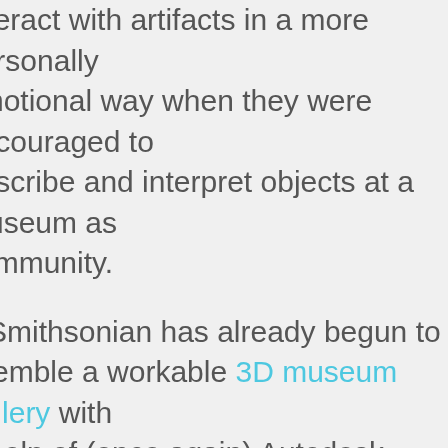interact with artifacts in a more personally emotional way when they were encouraged to describe and interpret objects at a museum as community.
The Smithsonian has already begun to assemble a workable 3D museum gallery with the help of (once again) Autodesk, allowing anyone with a 3D printer to choose from a slew of priceless national artifacts and print their favorite at home. With a huge collection in storage (reportedly 1% of the total artifacts in their possession are displayed at any given time), this could give unprecedented exposure to fascinating objects that rarely see the light